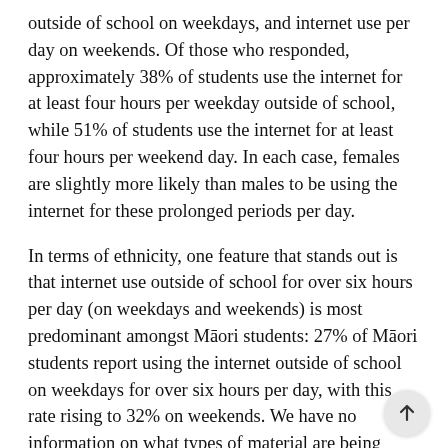outside of school on weekdays, and internet use per day on weekends. Of those who responded, approximately 38% of students use the internet for at least four hours per weekday outside of school, while 51% of students use the internet for at least four hours per weekend day. In each case, females are slightly more likely than males to be using the internet for these prolonged periods per day.
In terms of ethnicity, one feature that stands out is that internet use outside of school for over six hours per day (on weekdays and weekends) is most predominant amongst Māori students: 27% of Māori students report using the internet outside of school on weekdays for over six hours per day, with this rate rising to 32% on weekends. We have no information on what types of material are being accessed by these prolonged internet users, and further research on the internet use of prolonged users is warranted.